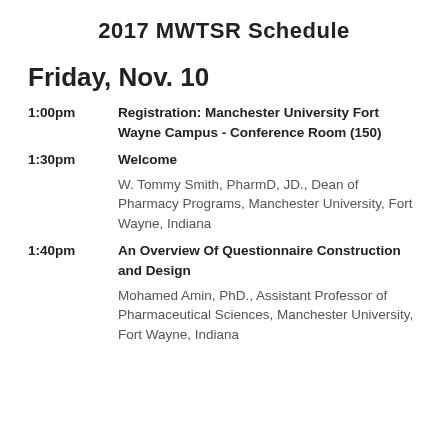2017 MWTSR Schedule
Friday, Nov. 10
1:00pm — Registration: Manchester University Fort Wayne Campus - Conference Room (150)
1:30pm — Welcome
W. Tommy Smith, PharmD, JD., Dean of Pharmacy Programs, Manchester University, Fort Wayne, Indiana
1:40pm — An Overview Of Questionnaire Construction and Design
Mohamed Amin, PhD., Assistant Professor of Pharmaceutical Sciences, Manchester University, Fort Wayne, Indiana